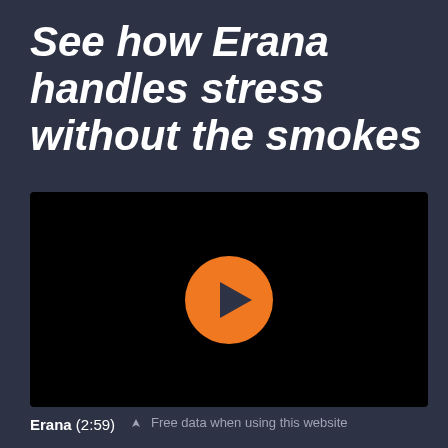See how Erana handles stress without the smokes
[Figure (screenshot): Black video thumbnail with orange circular play button in the center]
Erana  (2:59)
Free data when using this website